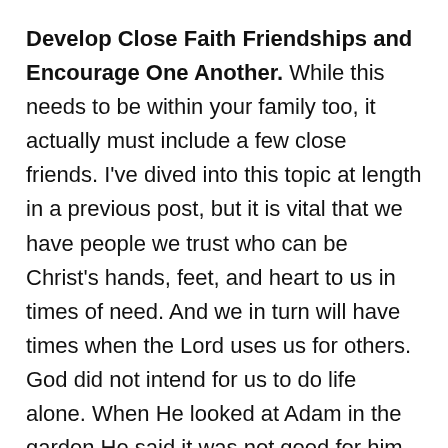Develop Close Faith Friendships and Encourage One Another.  While this needs to be within your family too, it actually must include a few close friends.  I've dived into this topic at length in a previous post, but it is vital that we have people we trust who can be Christ's hands, feet, and heart to us in times of need.  And we in turn will have times when the Lord uses us for others.  God did not intend for us to do life alone.  When He looked at Adam in the garden He said it was not good for him to be alone.  That is true of believers.  God knows we need faithful fellowship.  Ask Him and He will lead you to those people who will become your faith friends.
Join the Church and Plug In.  Jesus died for the Church, so the Church is very important to Him.  Find a Church that is vibrant.  One that consistently points to Jesus and